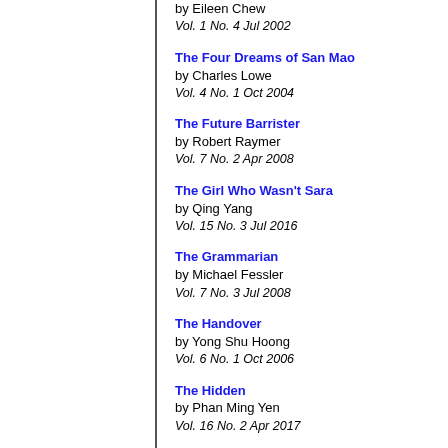by Eileen Chew
Vol. 1 No. 4 Jul 2002
The Four Dreams of San Mao by Charles Lowe Vol. 4 No. 1 Oct 2004
The Future Barrister by Robert Raymer Vol. 7 No. 2 Apr 2008
The Girl Who Wasn't Sara by Qing Yang Vol. 15 No. 3 Jul 2016
The Grammarian by Michael Fessler Vol. 7 No. 3 Jul 2008
The Handover by Yong Shu Hoong Vol. 6 No. 1 Oct 2006
The Hidden by Phan Ming Yen Vol. 16 No. 2 Apr 2017
The Hole by Gayle Goh